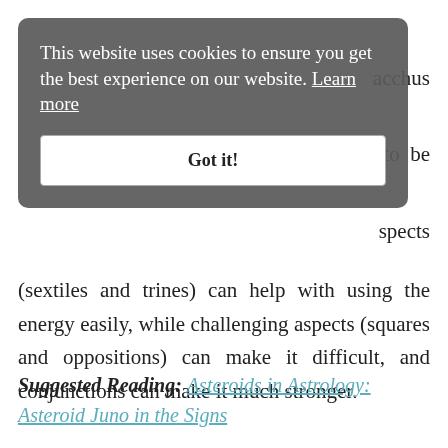This website uses cookies to ensure you get the best experience on our website. Learn more
Got it!
acchus
to be
spects
(sextiles and trines) can help with using the energy easily, while challenging aspects (squares and oppositions) can make it difficult, and conjunctions can make it much stronger.
Suggested Reading: Asteroids in Astrology: Asteroid Juno in the Signs